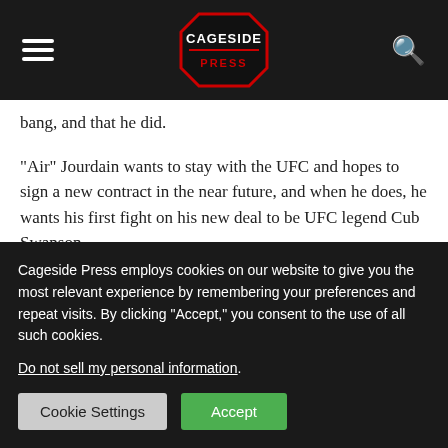Cageside Press
bang, and that he did.
“Air” Jourdain wants to stay with the UFC and hopes to sign a new contract in the near future, and when he does, he wants his first fight on his new deal to be UFC legend Cub Swanson.
“I was not a big fan of calling [people] out, but I want to fight Cub. I had a little bit of an interaction with him, and he was
Cageside Press employs cookies on our website to give you the most relevant experience by remembering your preferences and repeat visits. By clicking “Accept,” you consent to the use of all such cookies.
Do not sell my personal information.